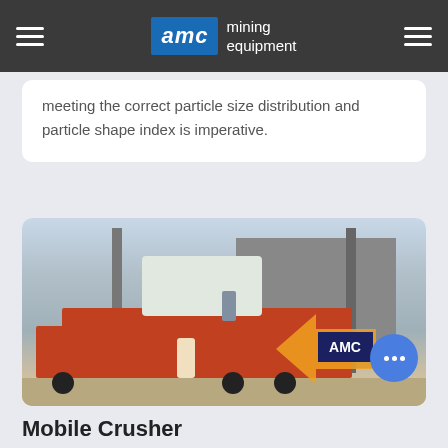AMC mining equipment
meeting the correct particle size distribution and particle shape index is imperative.
[Figure (photo): Workers and industrial equipment near a truck loaded with cargo at an outdoor facility with metal buildings and poles in the background. AMC logo watermark visible in lower right.]
Mobile Crusher